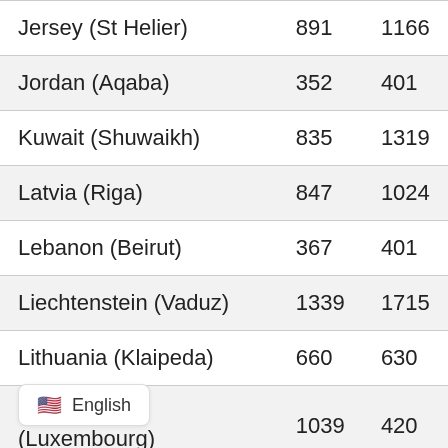| Jersey (St Helier) | 891 | 1166 |
| Jordan (Aqaba) | 352 | 401 |
| Kuwait (Shuwaikh) | 835 | 1319 |
| Latvia (Riga) | 847 | 1024 |
| Lebanon (Beirut) | 367 | 401 |
| Liechtenstein (Vaduz) | 1339 | 1715 |
| Lithuania (Klaipeda) | 660 | 630 |
| Luxembourg (Luxembourg) | 1039 | 420 |
| ... (Port Kelang) | 55 | 315 |